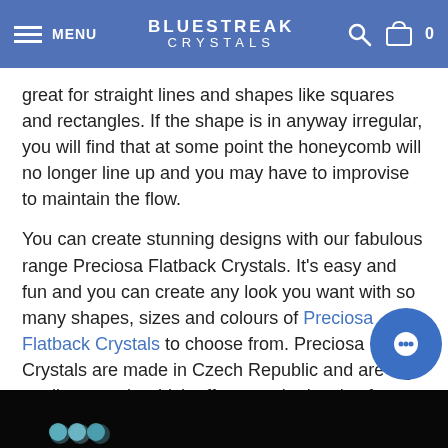MENU | BLUESTREAK CRYSTALS | 0
great for straight lines and shapes like squares and rectangles. If the shape is in anyway irregular, you will find that at some point the honeycomb will no longer line up and you may have to improvise to maintain the flow.
You can create stunning designs with our fabulous range Preciosa Flatback Crystals. It's easy and fun and you can create any look you want with so many shapes, sizes and colours of Preciosa Flatback Crystals to choose from. Preciosa Crystals are made in Czech Republic and are high quality crystals which offer superior levels of brilliance and sparkle, perfect for your embellishment projects.
The video tutorial below shows how you can create beautiful stripes on your purse / handbag using Preciosa Flatback Crystals:
[Figure (screenshot): Video thumbnail at bottom of page, dark background with partial crystal image visible]